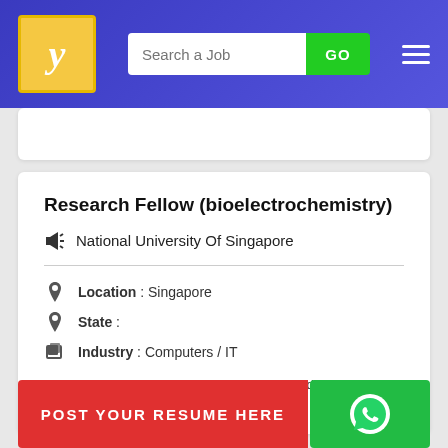Search a Job | GO
Research Fellow (bioelectrochemistry)
National University Of Singapore
Location : Singapore
State :
Industry : Computers / IT
Roles & ResponsibilitiesJob DescriptionCandidate will work on a project associated with energy storage devices. We wish to u... appli... p... mu...
POST YOUR RESUME HERE